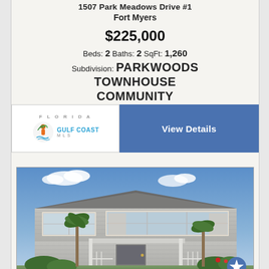1507 Park Meadows Drive #1
Fort Myers
$225,000
Beds: 2 Baths: 2 SqFt: 1,260
Subdivision: PARKWOODS TOWNHOUSE COMMUNITY
[Figure (logo): Florida Gulf Coast MLS logo with palm tree icon]
View Details
[Figure (photo): Exterior photo of a two-story townhouse with gray siding, white trim windows, front porch with railing, steps, and tropical landscaping]